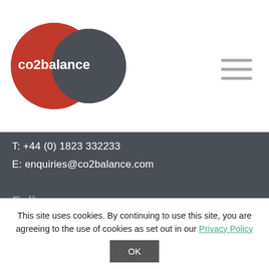[Figure (logo): co2balance logo with two overlapping circles (red and dark grey) and text 'co2balance' in red on a red circle]
T: +44 (0) 1823 332233
E: enquiries@co2balance.com
Follow
[Figure (infographic): Four social media icons: Facebook, Twitter, Instagram, LinkedIn — white icons on rounded square dark grey backgrounds]
This site uses cookies. By continuing to use this site, you are agreeing to the use of cookies as set out in our Privacy Policy